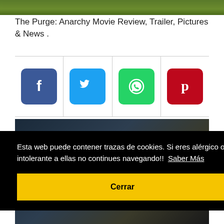[Figure (photo): Top portion of a movie-related image showing green/yellow foliage tones]
The Purge: Anarchy Movie Review, Trailer, Pictures & News .
[Figure (infographic): Row of four social media sharing icons: Facebook (blue), Twitter (light blue), WhatsApp (green), Pinterest (red)]
[Figure (photo): Dark cinematic still from The Purge: Anarchy movie, showing night scene]
Esta web puede contener trazas de cookies. Si eres alérgico o intolerante a ellas no continues navegando!!  Saber Más
Cerrar